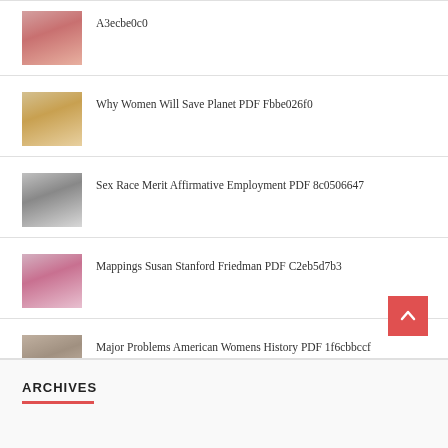A3ecbe0c0
Why Women Will Save Planet PDF Fbbe026f0
Sex Race Merit Affirmative Employment PDF 8c0506647
Mappings Susan Stanford Friedman PDF C2eb5d7b3
Major Problems American Womens History PDF 1f6cbbccf
ARCHIVES